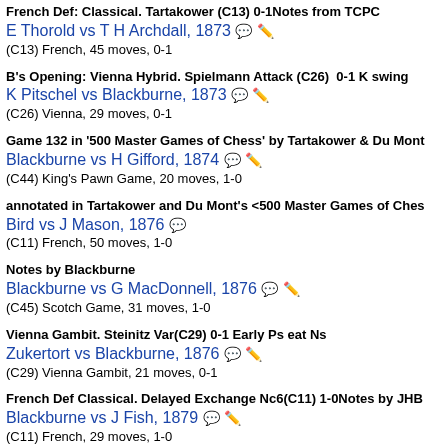French Def: Classical. Tartakower (C13) 0-1Notes from TCPC
E Thorold vs T H Archdall, 1873
(C13) French, 45 moves, 0-1
B's Opening: Vienna Hybrid. Spielmann Attack (C26)  0-1 K swing
K Pitschel vs Blackburne, 1873
(C26) Vienna, 29 moves, 0-1
Game 132 in '500 Master Games of Chess' by Tartakower & Du Mont
Blackburne vs H Gifford, 1874
(C44) King's Pawn Game, 20 moves, 1-0
annotated in Tartakower and Du Mont's <500 Master Games of Ches
Bird vs J Mason, 1876
(C11) French, 50 moves, 1-0
Notes by Blackburne
Blackburne vs G MacDonnell, 1876
(C45) Scotch Game, 31 moves, 1-0
Vienna Gambit. Steinitz Var(C29) 0-1 Early Ps eat Ns
Zukertort vs Blackburne, 1876
(C29) Vienna Gambit, 21 moves, 0-1
French Def Classical. Delayed Exchange Nc6(C11) 1-0Notes by JHB
Blackburne vs J Fish, 1879
(C11) French, 29 moves, 1-0